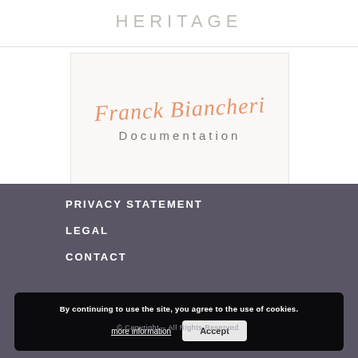HERITAGE
[Figure (logo): Franck Biancheri Documentation logo — handwritten orange script 'Franck Biancheri' above grey serif 'Documentation' text on a light grey/white background]
PRIVACY STATEMENT
LEGAL
CONTACT
By continuing to use the site, you agree to the use of cookies. more information Accept
© Copyright – All Rights Reserved.